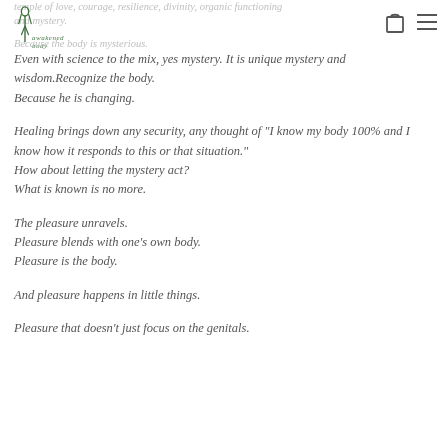temple of love, courage, resilience, divinity, organic functioning and mystery.
Because the body is mysterious.
Even with science to the mix, yes mystery. It is unique mystery and wisdom.Recognize the body.
Because he is changing.
Healing brings down any security, any thought of "I know my body 100% and I know how it responds to this or that situation."
How about letting the mystery act?
What is known is no more.
The pleasure unravels.
Pleasure blends with one's own body.
Pleasure is the body.
And pleasure happens in little things.
Pleasure that doesn't just focus on the genitals.